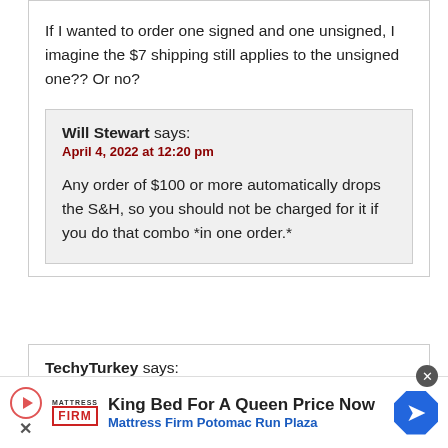If I wanted to order one signed and one unsigned, I imagine the $7 shipping still applies to the unsigned one?? Or no?
Will Stewart says:
April 4, 2022 at 12:20 pm
Any order of $100 or more automatically drops the S&H, so you should not be charged for it if you do that combo *in one order.*
TechyTurkey says:
[Figure (other): Advertisement banner: King Bed For A Queen Price Now, Mattress Firm Potomac Run Plaza]